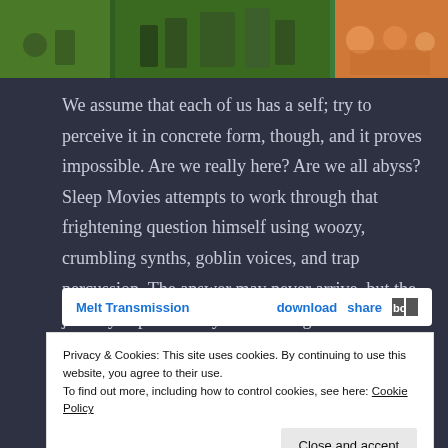[Figure (photo): A horizontal strip of photos showing people outdoors in nature scenes, a concert or performance, and a group social gathering.]
We assume that each of us has a self; try to perceive it in concrete form, though, and it proves impossible. Are we really here? Are we all abyss? Sleep Movies attempts to work through that frightening question himself using woozy, crumbling synths, goblin voices, and trap percussion. The answer may never arrive, but the journey is pleasurably disorienting.
Melt Transmission    download    share    bc
Privacy & Cookies: This site uses cookies. By continuing to use this website, you agree to their use.
To find out more, including how to control cookies, see here: Cookie Policy
Close and accept
###